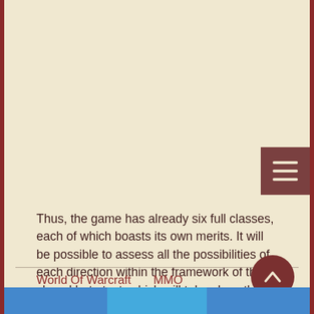[Figure (other): Hamburger menu button (three horizontal lines) on dark reddish-brown background, positioned top-right]
Thus, the game has already six full classes, each of which boasts its own merits. It will be possible to assess all the possibilities of each direction within the framework of the closed beta test, which will take place this spring. To become a participant, the gamer just needs to visit the official website of the project and register there.
Recall that the project MMORPG Corepunk in isometric style. At the heart of it is a seamless open world. The territory is scattered fogs of war, thanks to which gamers will be able to arrange ambushes and traps in pursuit of victory. A unique system of honor points has been announced.
World Of Warcraft    MMO